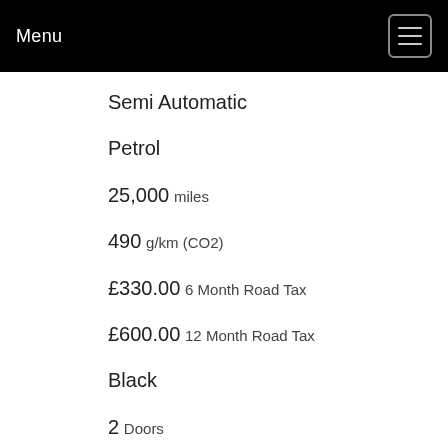Menu
Semi Automatic
Petrol
25,000 miles
490 g/km (CO2)
£330.00 6 Month Road Tax
£600.00 12 Month Road Tax
Black
2 Doors
Coupe